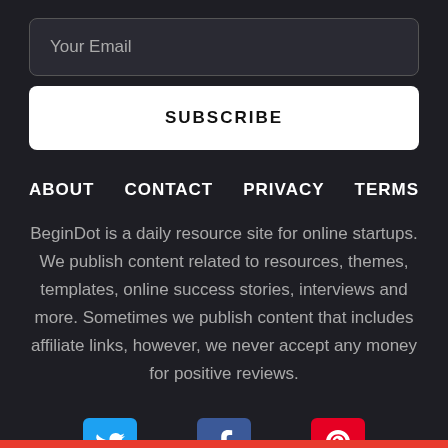Your Email
SUBSCRIBE
ABOUT   CONTACT   PRIVACY   TERMS
BeginDot is a daily resource site for online startups. We publish content related to resources, themes, templates, online success stories, interviews and more. Sometimes we publish content that includes affiliate links, however, we never accept any money for positive reviews.
[Figure (infographic): Three social media icons: Twitter (blue), Facebook (dark blue), Pinterest (red), partially visible at the bottom of the page]